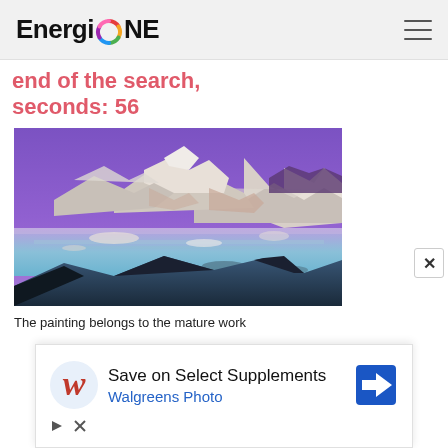EnergiONE
end of the search, seconds: 56
[Figure (photo): A painting of mountain peaks in purplish-blue hues with a lake or misty foreground and dark hills at the bottom. Stylized, geometric mountainscape.]
The painting belongs to the mature work
[Figure (screenshot): Advertisement overlay for Walgreens: 'Save on Select Supplements' and 'Walgreens Photo' with Walgreens logo and navigation icon]